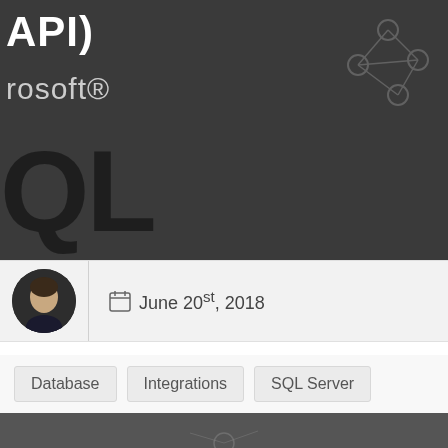[Figure (screenshot): Dark background hero image showing 'API)' text in white bold, 'rosoft' in gray, and large 'QL Serve' bold text forming Microsoft SQL Server branding, with faint network/graph nodes in top right]
June 20st, 2018
Database  Integrations  SQL Server